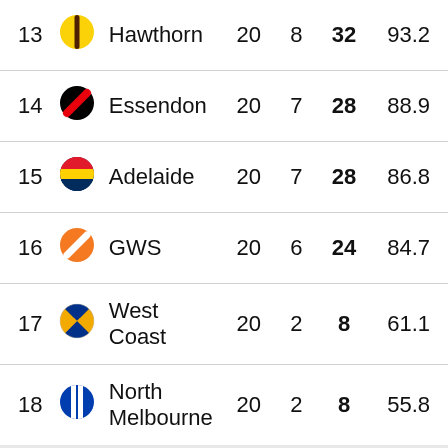| # | Team | P | W | Pts | % |
| --- | --- | --- | --- | --- | --- |
| 13 | Hawthorn | 20 | 8 | 32 | 93.2 |
| 14 | Essendon | 20 | 7 | 28 | 88.9 |
| 15 | Adelaide | 20 | 7 | 28 | 86.8 |
| 16 | GWS | 20 | 6 | 24 | 84.7 |
| 17 | West Coast | 20 | 2 | 8 | 61.1 |
| 18 | North Melbourne | 20 | 2 | 8 | 55.8 |